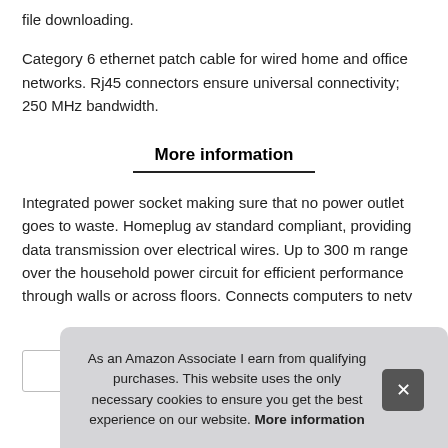file downloading.
Category 6 ethernet patch cable for wired home and office networks. Rj45 connectors ensure universal connectivity; 250 MHz bandwidth.
More information
Integrated power socket making sure that no power outlet goes to waste. Homeplug av standard compliant, providing data transmission over electrical wires. Up to 300 m range over the household power circuit for efficient performance through walls or across floors. Connects computers to netv
As an Amazon Associate I earn from qualifying purchases. This website uses the only necessary cookies to ensure you get the best experience on our website. More information